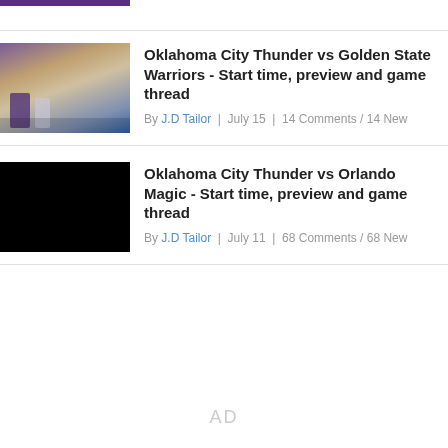[Figure (photo): Purple top bar strip at the top left]
Oklahoma City Thunder vs Golden State Warriors - Start time, preview and game thread
By J.D Tailor | July 15 | 14 Comments / 14 New
[Figure (photo): Basketball game photo showing players in purple and white uniforms on court]
Oklahoma City Thunder vs Orlando Magic - Start time, preview and game thread
By J.D Tailor | July 11 | 68 Comments / 68 New
[Figure (photo): Black placeholder image]
AD